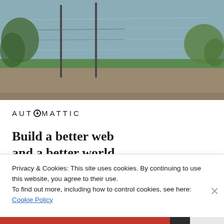[Figure (photo): Outdoor photo of a waterfront path with grass, water, and poles/fencing in the background — landscape orientation]
[Figure (logo): Automattic company logo — uppercase letters 'AUT' with a compass/clock icon replacing the 'O', then 'MATTIC']
Build a better web and a better world.
[Figure (other): Blue 'Apply' button]
[Figure (photo): Circular portrait photo of a man with glasses and beard, light beige background]
Privacy & Cookies: This site uses cookies. By continuing to use this website, you agree to their use.
To find out more, including how to control cookies, see here: Cookie Policy
Close and accept